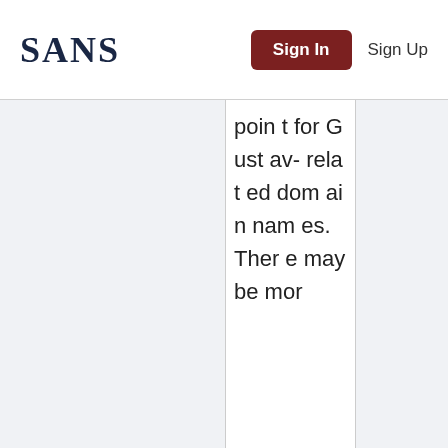[Figure (logo): SANS logo in dark navy serif font]
Sign In
Sign Up
point for Gustav-related domain names. There may be mor